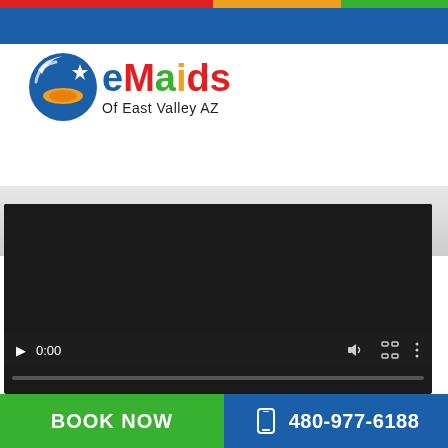[Figure (logo): eMaids of East Valley AZ logo with blue circular icon and colorful lettering]
[Figure (screenshot): Video player showing 0:00 timestamp with play button, volume, fullscreen, and more options controls on dark background]
BOOK NOW
480-977-6188